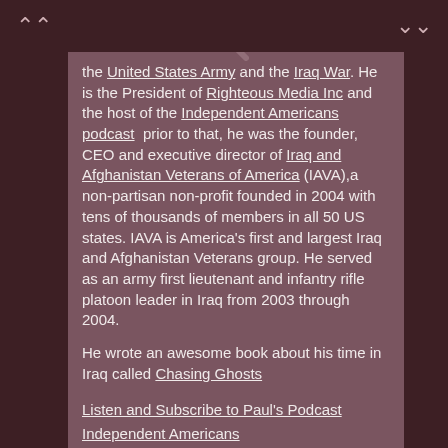the United States Army and the Iraq War. He is the President of Righteous Media Inc and the host of the Independent Americans podcast  prior to that, he was the founder, CEO and executive director of Iraq and Afghanistan Veterans of America (IAVA),a non-partisan non-profit founded in 2004 with tens of thousands of members in all 50 US states. IAVA is America's first and largest Iraq and Afghanistan Veterans group. He served as an army first lieutenant and infantry rifle platoon leader in Iraq from 2003 through 2004.
He wrote an awesome book about his time in Iraq called Chasing Ghosts
Listen and Subscribe to Paul's Podcast Independent Americans
Pete on YouTube
Pete on Twitter
Pete On Instagram